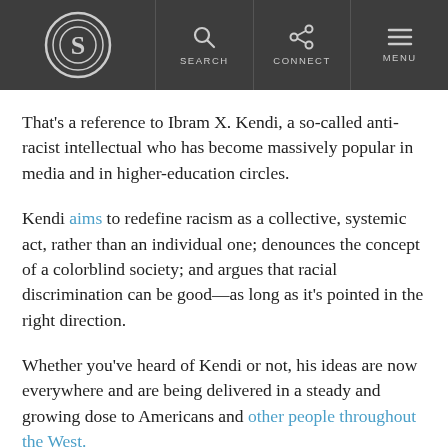S | SEARCH | CONNECT | MENU
That's a reference to Ibram X. Kendi, a so-called anti-racist intellectual who has become massively popular in media and in higher-education circles.
Kendi aims to redefine racism as a collective, systemic act, rather than an individual one; denounces the concept of a colorblind society; and argues that racial discrimination can be good—as long as it's pointed in the right direction.
Whether you've heard of Kendi or not, his ideas are now everywhere and are being delivered in a steady and growing dose to Americans and other people throughout the West.